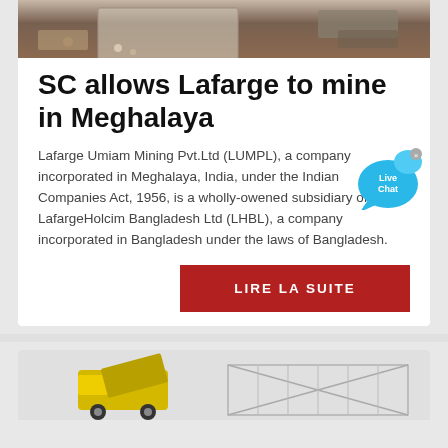[Figure (photo): Aerial/overhead view of a mining or construction site with machinery and trucks on reddish-brown earth]
SC allows Lafarge to mine in Meghalaya
Lafarge Umiam Mining Pvt.Ltd (LUMPL), a company incorporated in Meghalaya, India, under the Indian Companies Act, 1956, is a wholly-owened subsidiary of LafargeHolcim Bangladesh Ltd (LHBL), a company incorporated in Bangladesh under the laws of Bangladesh.
[Figure (illustration): Live Chat bubble icon in blue]
LIRE LA SUITE
[Figure (photo): Bottom portion showing a yellow construction truck and a steel truss/frame structure]